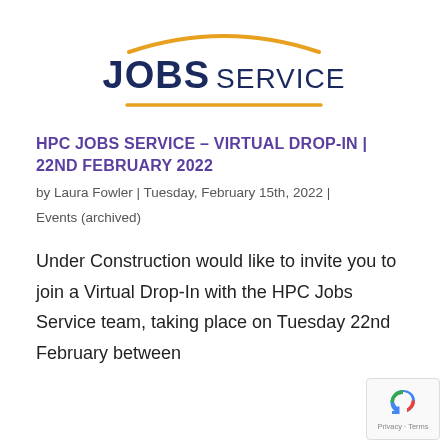[Figure (logo): Jobs Service logo with golden arc above text and golden underline below. Bold dark navy 'JOBS' and regular weight 'SERVICE' text.]
HPC JOBS SERVICE – VIRTUAL DROP-IN | 22ND FEBRUARY 2022
by Laura Fowler | Tuesday, February 15th, 2022 |
Events (archived)
Under Construction would like to invite you to join a Virtual Drop-In with the HPC Jobs Service team, taking place on Tuesday 22nd February between